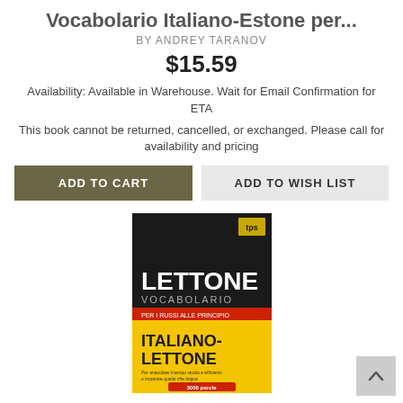Vocabolario Italiano-Estone per...
BY ANDREY TARANOV
$15.59
Availability: Available in Warehouse. Wait for Email Confirmation for ETA
This book cannot be returned, cancelled, or exchanged. Please call for availability and pricing
[Figure (screenshot): Book cover for Vocabolario Italiano-Lettone. Black background with bold white text 'LETTONE VOCABOLARIO' and yellow lower section with 'ITALIANO-LETTONE' in bold black text and a red band at the bottom.]
Vocabolario Italiano-Lettone per...
BY ANDREY TARANOV
$21.59
Availability: Available in Warehouse. Wait for Email Confirmation for